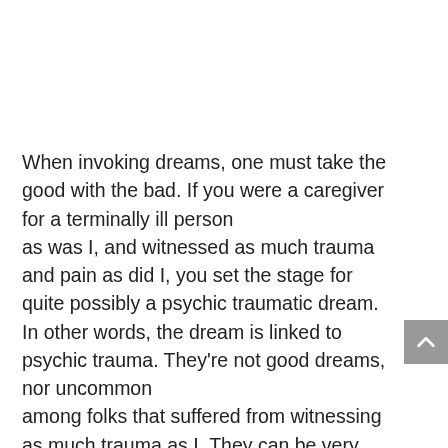When invoking dreams, one must take the good with the bad. If you were a caregiver for a terminally ill person as was I, and witnessed as much trauma and pain as did I, you set the stage for quite possibly a psychic traumatic dream. In other words, the dream is linked to psychic trauma. They're not good dreams, nor uncommon among folks that suffered from witnessing as much trauma as I. They can be very unsettling, but I believe they were a part of my healing process.
I had a question that kept running through my mind.